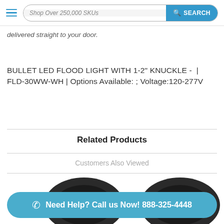Shop Over 250,000 SKUs  SEARCH
delivered straight to your door.
BULLET LED FLOOD LIGHT WITH 1-2" KNUCKLE - | FLD-30WW-WH | Options Available: ; Voltage:120-277V
Related Products
Customers Also Viewed
[Figure (photo): Two dark-colored round LED flood light fixtures photographed from above]
Need Help? Call us Now! 888-325-4448